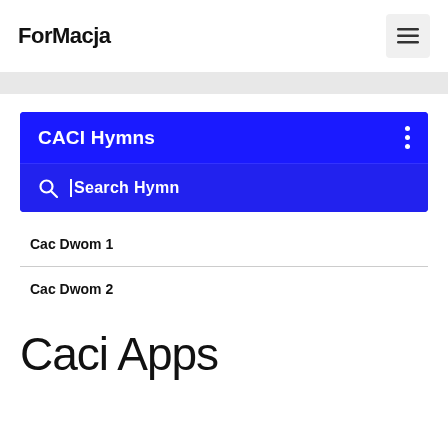ForMacja
[Figure (screenshot): CACI Hymns app interface showing a blue header bar with 'CACI Hymns' title and a search field labeled 'Search Hymn']
Cac Dwom 1
Cac Dwom 2
Caci Apps